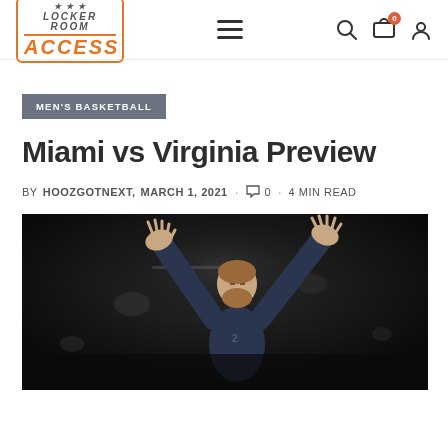Locker Room Access — navigation bar with logo, hamburger menu, search, cart, and user icons
MEN'S BASKETBALL
Miami vs Virginia Preview
BY HOOZGOTNEXT,  MARCH 1, 2021  ·  0  ·  4 MIN READ
[Figure (photo): Basketball player with arms raised, wearing dark uniform, photographed in an arena against a dark background]